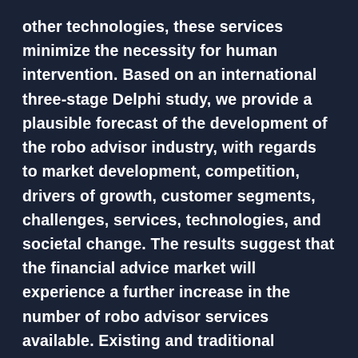other technologies, these services minimize the necessity for human intervention. Based on an international three-stage Delphi study, we provide a plausible forecast of the development of the robo advisor industry, with regards to market development, competition, drivers of growth, customer segments, challenges, services, technologies, and societal change. The results suggest that the financial advice market will experience a further increase in the number of robo advisor services available. Existing and traditional financial advice players will be forced to adjust to the changing environment of the market. Due to low fees and ease of use, robo advisors will be made